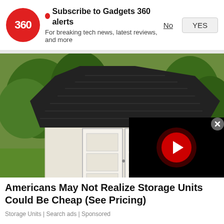Subscribe to Gadgets 360 alerts
For breaking tech news, latest reviews, and more
[Figure (photo): Photo of a white and dark green barn-style storage shed with black shingle roof, double doors, sitting on a wood pallet on a grassy lawn with green trees/shrubs in the background. A small video overlay in the bottom-right corner shows a dark screen with a red play button circle.]
Americans May Not Realize Storage Units Could Be Cheap (See Pricing)
Storage Units | Search ads | Sponsored